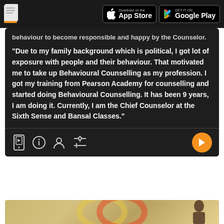Download on the App Store | GET IT ON Google Play
behaviour to become responsible and happy by the Counselor.
"Due to my family background which is political, I got lot of exposure with people and their behaviour. That motivated me to take up Behavioural Counselling as my profession. I got my training from Pearson Academy for counselling and started doing Behavioural Counselling. It has been 9 years, I am doing it. Currently, I am the Chief Counselor at the Sixth Sense and Bansal Classes."
[Figure (screenshot): App toolbar with icons: mobile/video icon, info icon, person icon, settings/adjust icon, and orange play button on right]